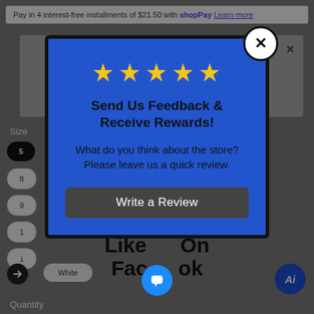[Figure (screenshot): E-commerce product page screenshot showing size selector, color options, and quantity label on a gray background]
[Figure (screenshot): Modal popup with blue background, 5 yellow stars, title 'Send Us Feedback & Receive Rewards!', body text asking for a store review, and a 'Write a Review' dark button. An X close button in the top right corner.]